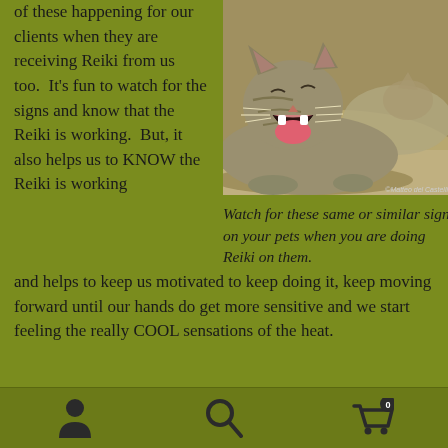of these happening for our clients when they are receiving Reiki from us too. It's fun to watch for the signs and know that the Reiki is working. But, it also helps us to KNOW the Reiki is working
[Figure (photo): A tabby cat lying on the ground with mouth wide open, yawning, with another cat blurred in the background]
Watch for these same or similar signs on your pets when you are doing Reiki on them.
and helps to keep us motivated to keep doing it, keep moving forward until our hands do get more sensitive and we start feeling the really COOL sensations of the heat.